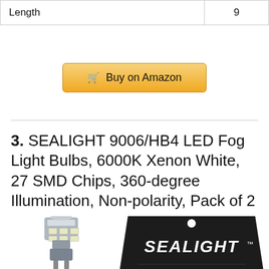| Length | 9 |
Buy on Amazon
3. SEALIGHT 9006/HB4 LED Fog Light Bulbs, 6000K Xenon White, 27 SMD Chips, 360-degree Illumination, Non-polarity, Pack of 2
[Figure (photo): LED bulb on the left and SEALIGHT branded black packaging on the right]